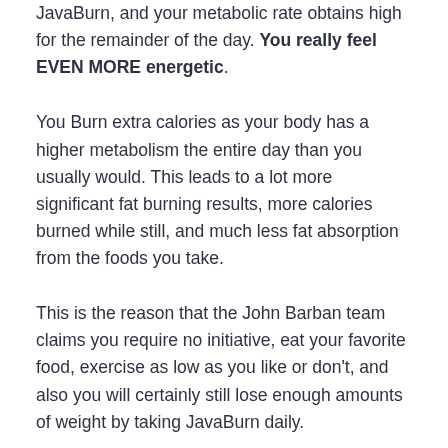JavaBurn, and your metabolic rate obtains high for the remainder of the day. You really feel EVEN MORE energetic.
You Burn extra calories as your body has a higher metabolism the entire day than you usually would. This leads to a lot more significant fat burning results, more calories burned while still, and much less fat absorption from the foods you take.
This is the reason that the John Barban team claims you require no initiative, eat your favorite food, exercise as low as you like or don't, and also you will certainly still lose enough amounts of weight by taking JavaBurn daily.